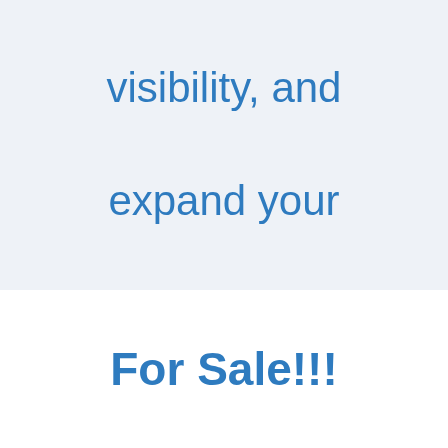web presence, visibility, and expand your reach!
For Sale!!!